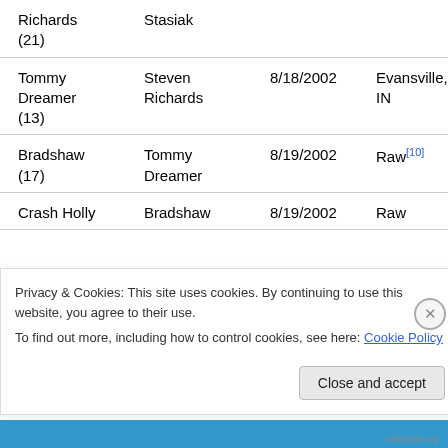| Champion | Opponent | Date | Location |
| --- | --- | --- | --- |
| Richards (21) | Stasiak |  |  |
| Tommy Dreamer (13) | Steven Richards | 8/18/2002 | Evansville, IN |
| Bradshaw (17) | Tommy Dreamer | 8/19/2002 | Raw[10] |
| Crash Holly | Bradshaw | 8/19/2002 | Raw |
Privacy & Cookies: This site uses cookies. By continuing to use this website, you agree to their use. To find out more, including how to control cookies, see here: Cookie Policy